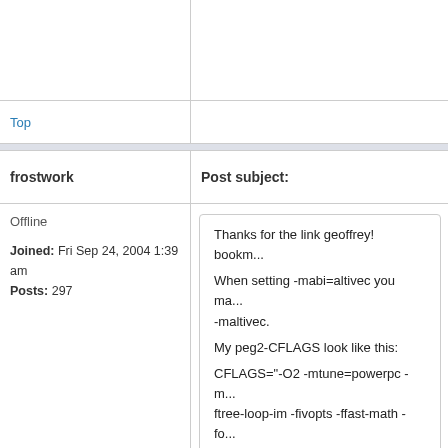Top
frostwork
Post subject:
Offline
Joined: Fri Sep 24, 2004 1:39 am
Posts: 297
Thanks for the link geoffrey! bookm... When setting -mabi=altivec you ma... -maltivec. My peg2-CFLAGS look like this: CFLAGS="-O2 -mtune=powerpc -m... ftree-loop-im -fivopts -ffast-math -fo... They work fine in 99,99% (mjpegtools don't like afair -ftree-ve... I'll try to find out why cdga2-X does... maybe only the xorg-server has to...
Top
Profile